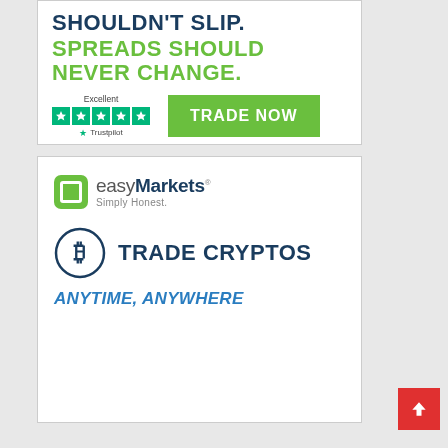[Figure (infographic): Advertisement banner: text 'SHOULDN'T SLIP. SPREADS SHOULD NEVER CHANGE.' with Trustpilot Excellent rating stars and a green TRADE NOW button]
[Figure (infographic): easyMarkets 'Simply Honest.' advertisement with bitcoin circle icon, text 'TRADE CRYPTOS' and 'ANYTIME, ANYWHERE']